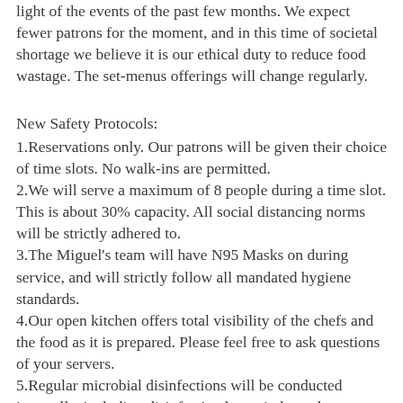light of the events of the past few months. We expect fewer patrons for the moment, and in this time of societal shortage we believe it is our ethical duty to reduce food wastage. The set-menus offerings will change regularly.
New Safety Protocols:
1.Reservations only. Our patrons will be given their choice of time slots. No walk-ins are permitted.
2.We will serve a maximum of 8 people during a time slot. This is about 30% capacity. All social distancing norms will be strictly adhered to.
3.The Miguel's team will have N95 Masks on during service, and will strictly follow all mandated hygiene standards.
4.Our open kitchen offers total visibility of the chefs and the food as it is prepared. Please feel free to ask questions of your servers.
5.Regular microbial disinfections will be conducted internally, including disinfection by an independent